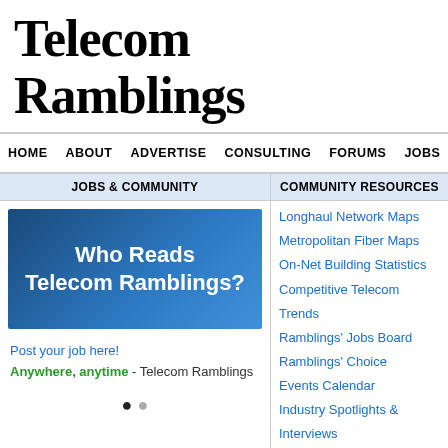Telecom Ramblings
HOME   ABOUT   ADVERTISE   CONSULTING   FORUMS   JOBS   CO...
JOBS & COMMUNITY
[Figure (other): Advertisement banner: 'Who Reads Telecom Ramblings?' on dark blue gradient background]
Post your job here!
Anywhere, anytime - Telecom Ramblings
COMMUNITY RESOURCES
Longhaul Network Maps
Metropolitan Fiber Maps
On-Net Building Statistics
Competitive Telecom Trends
Ramblings' Jobs Board
Ramblings' Choice
Events Calendar
Industry Spotlights & Interviews
Industry Viewpoints, Sponsored Posts
Newswire: by Date, Company, Subject
Poll: Which US Networks Are Most Likely to Be A...
January 2nd, 2017 by Rob Powell · Leave a Comment
2017 is finally here, and that means it is time to take the pulse of M&A in the wo...